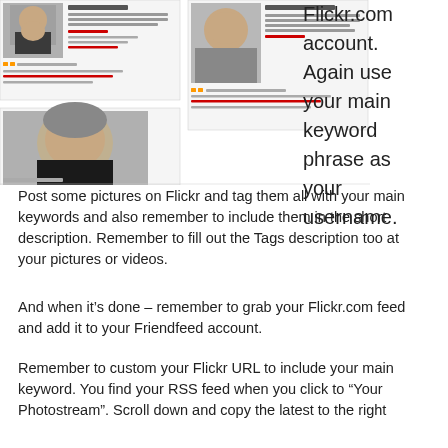[Figure (screenshot): Screenshot of a social media or blog profile page showing multiple profile photos of a person (SeoCustomer), with profile text and links visible]
Flickr.com account. Again use your main keyword phrase as your username. Post some pictures on Flickr and tag them all with your main keywords and also remember to include them in the short description. Remember to fill out the Tags description too at your pictures or videos.
And when it’s done – remember to grab your Flickr.com feed and add it to your Friendfeed account.
Remember to custom your Flickr URL to include your main keyword. You find your RSS feed when you click to “Your Photostream”. Scroll down and copy the latest to the right of the RSS icon. Something much easier is to go to Friendfeed – click the Flickr icon and add your username from Flickr.
Awesome right? And even more – you can integrate the two